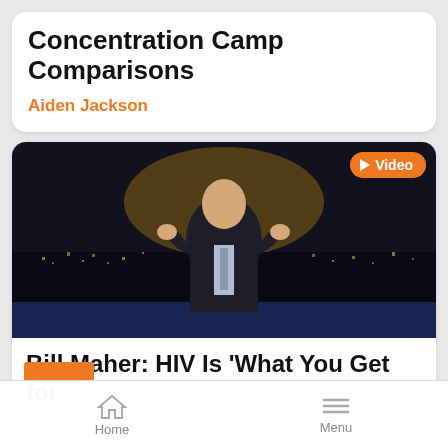Concentration Camp Comparisons
Aiden Jackson
[Figure (screenshot): Video thumbnail showing a man in a dark suit on a late-night TV set with a city skyline backdrop. An orange 'Video' badge with a play button is in the top right corner.]
Bill Maher: HIV Is 'What You Get for
Home    Menu